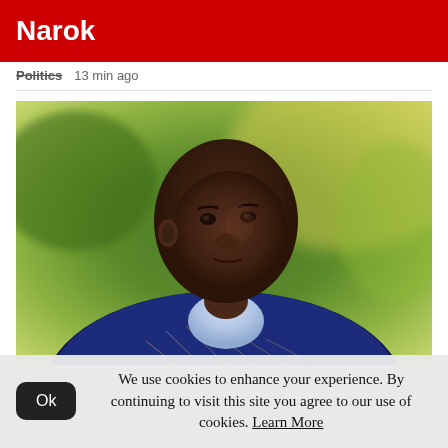Narok
Politics   13 min ago
[Figure (photo): Portrait photo of a man wearing a blue plaid blazer with a light blue shirt, looking slightly upward to the left, with green blurred foliage in the background.]
We use cookies to enhance your experience. By continuing to visit this site you agree to our use of cookies. Learn More